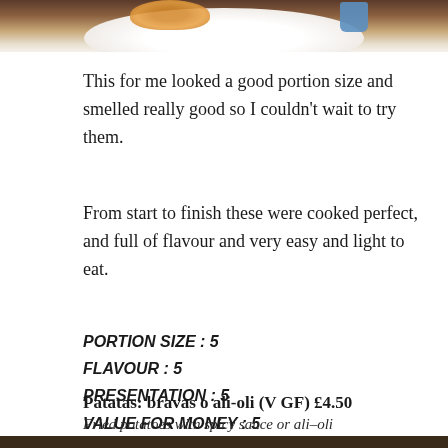[Figure (photo): Top portion of a food photo showing a white plate with food items and a blue cup on a dark brown background]
This for me looked a good portion size and smelled really good so I couldn't wait to try them.
From start to finish these were cooked perfect, and full of flavour and very easy and light to eat.
PORTION SIZE : 5
FLAVOUR : 5
PRESENTATION : 5
VALUE FOR MONEY : 5
Patatas: bravas o ali-oli (V GF) £4.50
Fried potatoes with spicy sauce or ali–oli
[Figure (photo): Bottom strip of a food photograph]